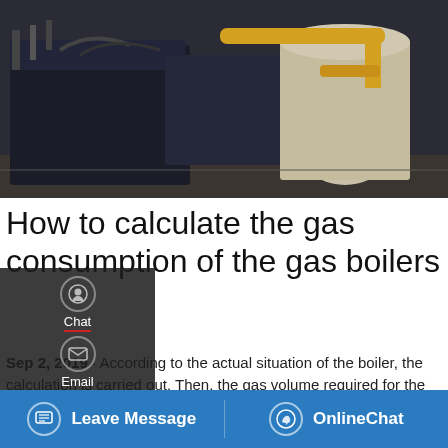[Figure (photo): Industrial gas boilers in a mechanical room, showing large dark boiler units with yellow pipes and connections]
How to calculate the gas consumption of the gas boilers
Sep 2, 2019 · According to the actual situation of the boiler, the calculation is carried out. Then, the gas volume required for the operating hours of a 1 ton natural gas boiler = 0.7 MW * 3600 s / 36.22 MJ/ Nm3 / 92% = 75 m3 / h. Note: The actual power of the boiler is generally not equal to the rated power, so the consumption of gas is only a rough estimate.
[Figure (screenshot): Save Stickers on WhatsApp banner with phone and emoji icons on pink/purple gradient background]
Leave Message | OnlineChat